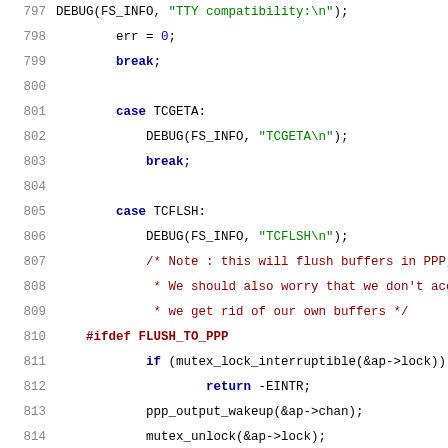[Figure (screenshot): Source code listing in C showing lines 797-818, featuring case statements for TCGETA and TCFLSH with debug calls, preprocessor directives for FLUSH_TO_PPP, mutex lock/unlock operations, and comments about flushing buffers in PPP.]